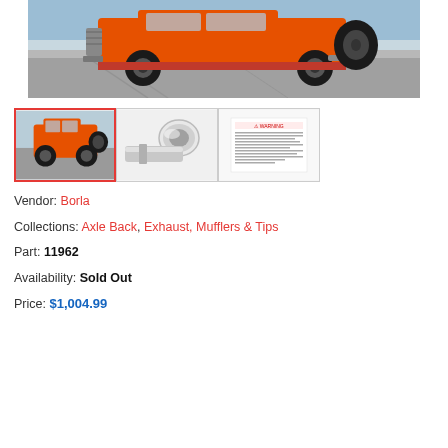[Figure (photo): Orange Jeep Wrangler photographed from rear/side angle on a paved surface outdoors]
[Figure (photo): Thumbnail 1: Orange Jeep Wrangler side view (selected, red border)]
[Figure (photo): Thumbnail 2: Stainless steel exhaust tip/muffler component]
[Figure (photo): Thumbnail 3: Product documentation/warning sheet with small text]
Vendor: Borla
Collections: Axle Back, Exhaust, Mufflers & Tips
Part: 11962
Availability: Sold Out
Price: $1,004.99